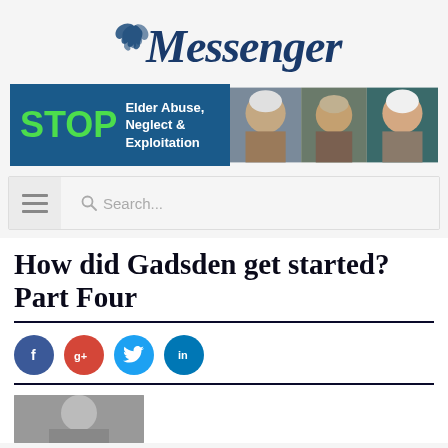Messenger
[Figure (infographic): STOP Elder Abuse, Neglect & Exploitation banner ad with three elderly people photos]
[Figure (screenshot): Navigation bar with hamburger menu icon and search box]
How did Gadsden get started? Part Four
[Figure (infographic): Social media share icons: Facebook, Google+, Twitter, LinkedIn]
[Figure (photo): Partial author photo at bottom]